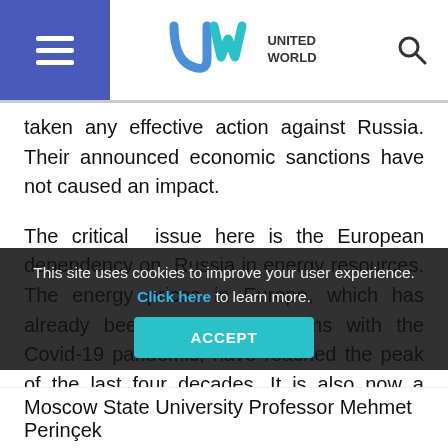United World
taken any effective action against Russia. Their announced economic sanctions have not caused an impact.
The critical issue here is the European dependency on Russia in energy resources. The energy prices in Europe, which has already been having problems with the Covid-19 pandemic, have reached the peak of the last four decades. It is also now a matter of debate what stance the Berlin government will take, having invested billions of dollars in the NordStream 2 pipeline to transport Russian gas to Germany.
Boiling below the surface...
This site uses cookies to improve your user experience. Click here to learn more.
Moscow State University Professor Mehmet Perinçek